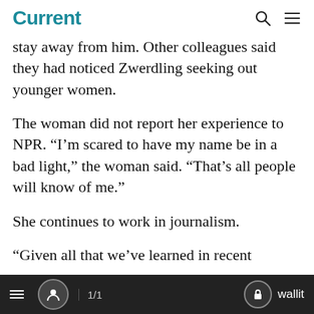Current
stay away from him. Other colleagues said they had noticed Zwerdling seeking out younger women.
The woman did not report her experience to NPR. “I’m scared to have my name be in a bad light,” the woman said. “That’s all people will know of me.”
She continues to work in journalism.
“Given all that we’ve learned in recent
1/1  wallit